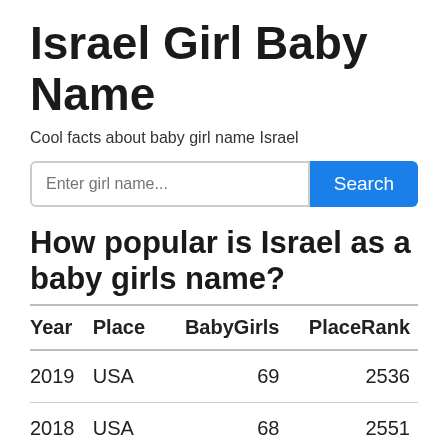Israel Girl Baby Name
Cool facts about baby girl name Israel
How popular is Israel as a baby girls name?
| Year | Place | BabyGirls | PlaceRank |
| --- | --- | --- | --- |
| 2019 | USA | 69 | 2536 |
| 2018 | USA | 68 | 2551 |